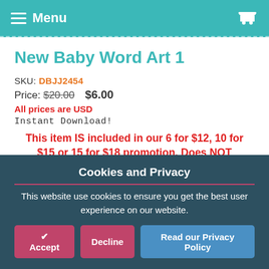Menu
New Baby Word Art 1
SKU: DBJJ2454
Price: $20.00  $6.00
All prices are USD
Instant Download!
This item IS included in our 6 for $12, 10 for $15 or 15 for $18 promotion. Does NOT include In The Hoop or End-To-End Quilting products.
Cookies and Privacy
This website use cookies to ensure you get the best user experience on our website.
✔ Accept  Decline  Read our Privacy Policy